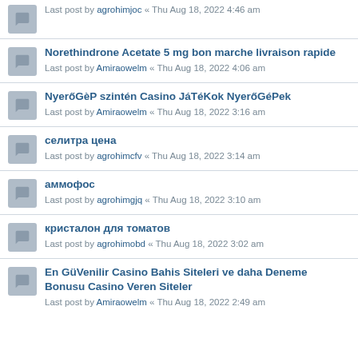Last post by agrohimjoc « Thu Aug 18, 2022 4:46 am
Norethindrone Acetate 5 mg bon marche livraison rapide
Last post by Amiraowelm « Thu Aug 18, 2022 4:06 am
NyerőGèP szintén Casino JáTéKok NyerőGéPek
Last post by Amiraowelm « Thu Aug 18, 2022 3:16 am
селитра цена
Last post by agrohimcfv « Thu Aug 18, 2022 3:14 am
аммофос
Last post by agrohimgjq « Thu Aug 18, 2022 3:10 am
кристалон для томатов
Last post by agrohimobd « Thu Aug 18, 2022 3:02 am
En GüVenilir Casino Bahis Siteleri ve daha Deneme Bonusu Casino Veren Siteler
Last post by Amiraowelm « Thu Aug 18, 2022 2:49 am